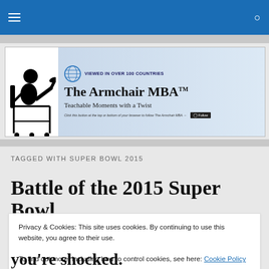The Armchair MBA — navigation bar
[Figure (logo): The Armchair MBA banner — silhouette of a man reclining in an office chair, globe icon, text 'VIEWED IN OVER 100 COUNTRIES', 'The Armchair MBA™', 'Teachable Moments with a Twist', follow button]
TAGGED WITH SUPER BOWL 2015
Battle of the 2015 Super Bowl
Privacy & Cookies: This site uses cookies. By continuing to use this website, you agree to their use.
To find out more, including how to control cookies, see here: Cookie Policy
you're shocked.